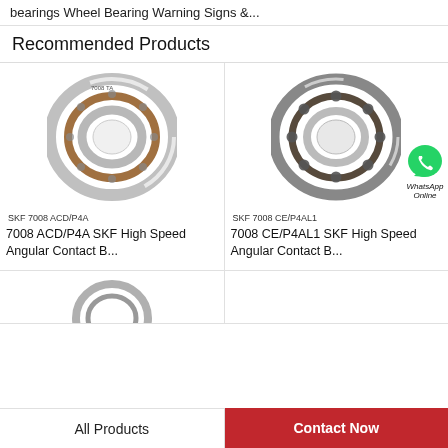bearings Wheel Bearing Warning Signs &...
Recommended Products
[Figure (photo): SKF 7008 ACD/P4A angular contact bearing, chrome/silver ring with brown cage, seen from front angle]
SKF 7008 ACD/P4A
7008 ACD/P4A SKF High Speed Angular Contact B...
[Figure (photo): SKF 7008 CE/P4AL1 angular contact bearing, chrome/silver ring with dark cage and balls visible, seen from front angle, with WhatsApp Online overlay icon]
SKF 7008 CE/P4AL1
7008 CE/P4AL1 SKF High Speed Angular Contact B...
[Figure (photo): Partial view of a third bearing product, partially cropped at bottom of page]
All Products | Contact Now